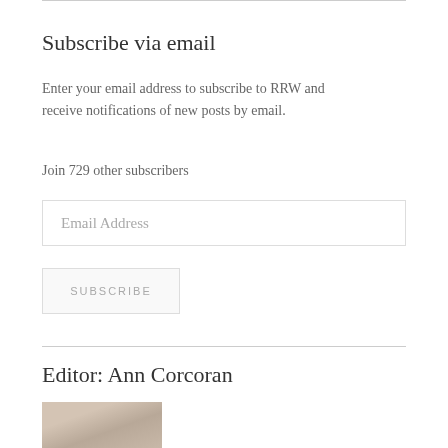Subscribe via email
Enter your email address to subscribe to RRW and receive notifications of new posts by email.
Join 729 other subscribers
Email Address
SUBSCRIBE
Editor: Ann Corcoran
[Figure (photo): Photo of Ann Corcoran, partially visible at bottom of page]